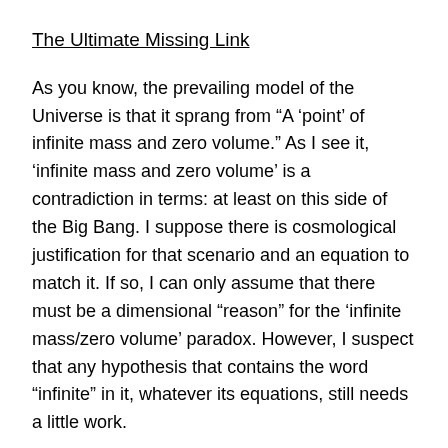The Ultimate Missing Link
As you know, the prevailing model of the Universe is that it sprang from “A ‘point’ of infinite mass and zero volume.” As I see it, ‘infinite mass and zero volume’ is a contradiction in terms: at least on this side of the Big Bang. I suppose there is cosmological justification for that scenario and an equation to match it. If so, I can only assume that there must be a dimensional “reason” for the ‘infinite mass/zero volume’ paradox. However, I suspect that any hypothesis that contains the word “infinite” in it, whatever its equations, still needs a little work.
In any case, I’m told that there are 10⁵⁰⁰ (a 1 followed by 500 zeroes) possible models of universes. Given those odds, I don’t think we’ll ever find a plausible link to the creation of the Universe. Apparently, St. Thomas Aquinas’